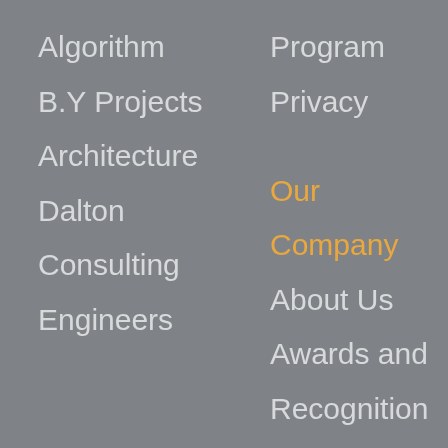Algorithm
B.Y Projects
Architecture
Dalton
Consulting
Engineers
Program
Privacy
Our Company
About Us
Awards and
Recognition